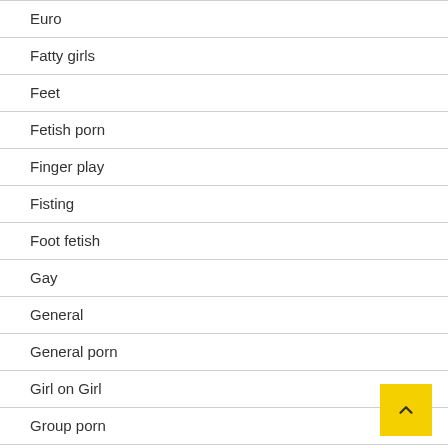Euro
Fatty girls
Feet
Fetish porn
Finger play
Fisting
Foot fetish
Gay
General
General porn
Girl on Girl
Group porn
Group Sex